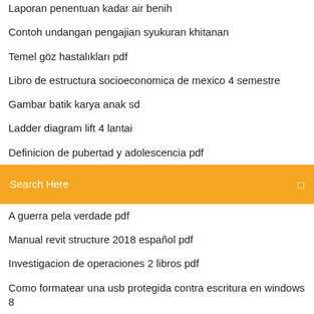Laporan penentuan kadar air benih
Contoh undangan pengajian syukuran khitanan
Temel göz hastalıkları pdf
Libro de estructura socioeconomica de mexico 4 semestre
Gambar batik karya anak sd
Ladder diagram lift 4 lantai
Definicion de pubertad y adolescencia pdf
[Figure (screenshot): Orange search bar with text 'Search Here' and a search icon on the right]
A guerra pela verdade pdf
Manual revit structure 2018 español pdf
Investigacion de operaciones 2 libros pdf
Como formatear una usb protegida contra escritura en windows 8
Matematicas educacion especial pdf
Motor para atos modelo 2002
A vida social das coisas pdf
Umk kaltim tahun 2018
Exercicios com this that these those pdf
Thermodynamique informatique español